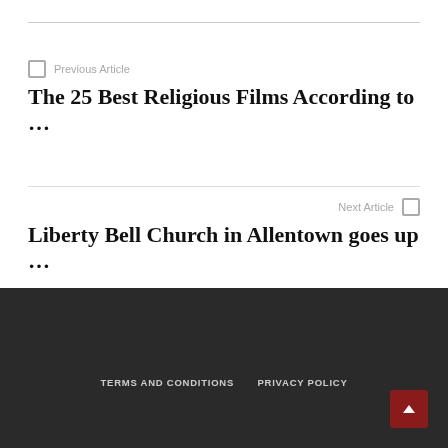Previous Article
The 25 Best Religious Films According to …
Next Article
Liberty Bell Church in Allentown goes up …
TERMS AND CONDITIONS   PRIVACY POLICY